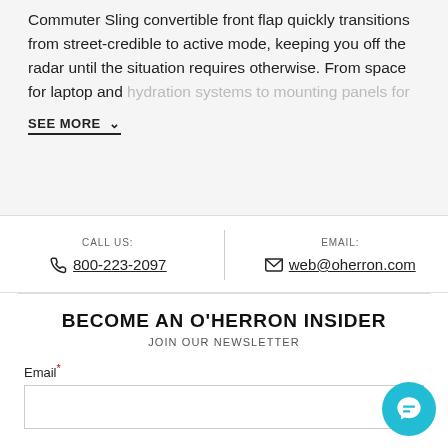Commuter Sling convertible front flap quickly transitions from street-credible to active mode, keeping you off the radar until the situation requires otherwise. From space for laptop and hydration systems to mounting panels for
SEE MORE ∨
CALL US: 800-223-2097
EMAIL: web@oherron.com
BECOME AN O'HERRON INSIDER
JOIN OUR NEWSLETTER
Email*